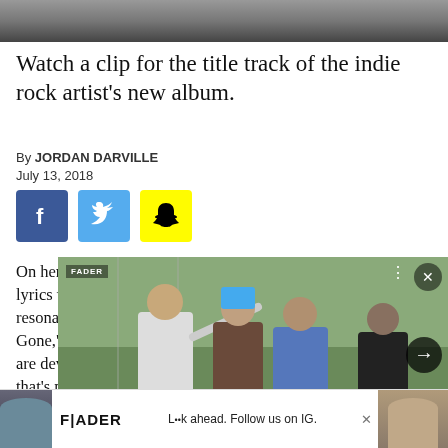[Figure (photo): Top portion of a photo, dark blurry image cropped at top]
Watch a clip for the title track of the indie rock artist's new album.
By JORDAN DARVILLE
July 13, 2018
[Figure (infographic): Social sharing buttons: Facebook (blue), Twitter (light blue), Snapchat (yellow)]
On her indie rock lyrics with a conve resonance, and an Gone," the title tra are devastating be that's not only not
[Figure (photo): NOFX band photo overlay card with caption 'NOFX will disband in 2023']
NOFX will disband in 2023
[Figure (infographic): FADER advertisement banner at bottom with text 'L••k ahead. Follow us on IG.']